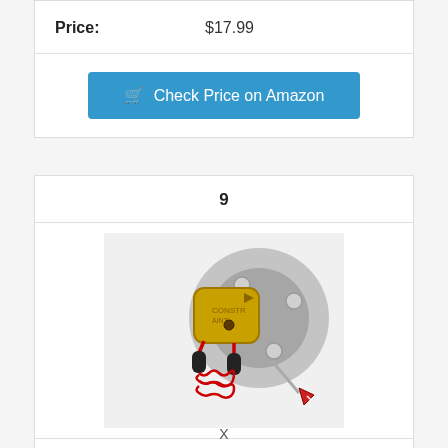Price: $17.99
Check Price on Amazon
9
[Figure (photo): A gold/brass colored disc brake lock with red coiled cable tether and a key with red triangle head, mounted on a motorcycle brake disc.]
X